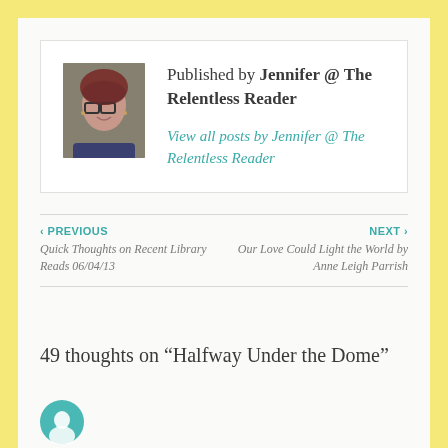[Figure (photo): Headshot photo of Jennifer, a woman with short reddish-brown hair and glasses, smiling outdoors]
Published by Jennifer @ The Relentless Reader
View all posts by Jennifer @ The Relentless Reader
‹ PREVIOUS
Quick Thoughts on Recent Library Reads 06/04/13
NEXT ›
Our Love Could Light the World by Anne Leigh Parrish
49 thoughts on “Halfway Under the Dome”